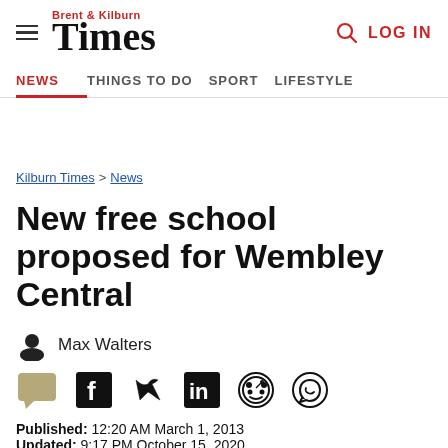Brent & Kilburn Times | NEWS | THINGS TO DO | SPORT | LIFESTYLE | LOG IN
Kilburn Times > News
New free school proposed for Wembley Central
Max Walters
Published: 12:20 AM March 1, 2013
Updated: 9:17 PM October 15, 2020